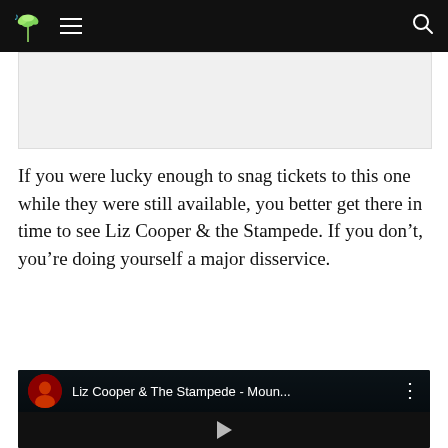Navigation bar with logo, hamburger menu, and search icon
[Figure (other): Advertisement placeholder rectangle]
If you were lucky enough to snag tickets to this one while they were still available, you better get there in time to see Liz Cooper & the Stampede. If you don't, you're doing yourself a major disservice.
[Figure (screenshot): YouTube video embed showing 'Liz Cooper & The Stampede - Moun...' with a circular channel icon showing a woman's silhouette in red, and a three-dot menu icon. The video scene shows a person with glasses on a dark background.]